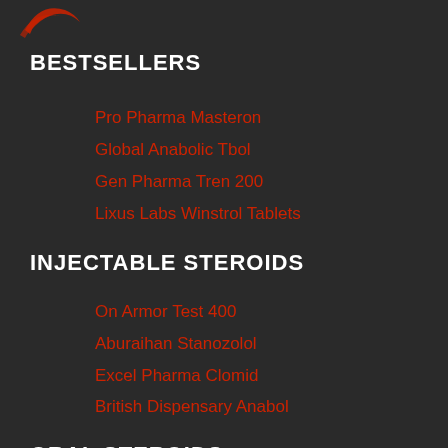[Figure (logo): Red curved logo mark in top left corner]
BESTSELLERS
Pro Pharma Masteron
Global Anabolic Tbol
Gen Pharma Tren 200
Lixus Labs Winstrol Tablets
INJECTABLE STEROIDS
On Armor Test 400
Aburaihan Stanozolol
Excel Pharma Clomid
British Dispensary Anabol
ORAL STEROIDS